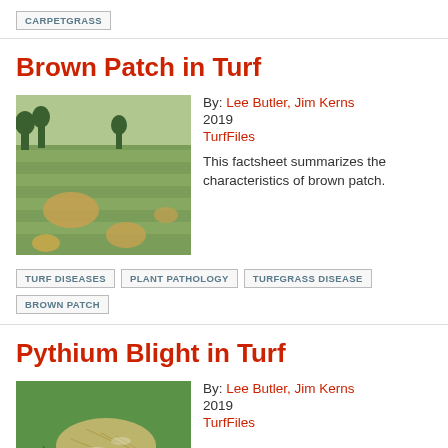CARPETGRASS
Brown Patch in Turf
By: Lee Butler, Jim Kerns
2019
TurfFiles
This factsheet summarizes the characteristics of brown patch.
[Figure (photo): Photograph of turf grass field with brown patch disease visible as circular brown areas in the grass]
TURF DISEASES
PLANT PATHOLOGY
TURFGRASS DISEASE
BROWN PATCH
Pythium Blight in Turf
By: Lee Butler, Jim Kerns
2019
TurfFiles
[Figure (photo): Close-up photograph of grass affected by Pythium Blight showing matted dead grass on green background]
This factsheet summarizes the characteristics of pythium blight.